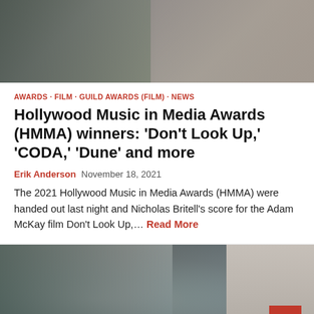[Figure (photo): Two people standing together, partial torsos visible, one in a grey/olive jacket, one in a grey textured sweater]
AWARDS · FILM · GUILD AWARDS (FILM) · NEWS
Hollywood Music in Media Awards (HMMA) winners: 'Don't Look Up,' 'CODA,' 'Dune' and more
Erik Anderson  November 18, 2021
The 2021 Hollywood Music in Media Awards (HMMA) were handed out last night and Nicholas Britell's score for the Adam McKay film Don't Look Up,… Read More
[Figure (photo): Two people embracing in a kitchen setting with hexagonal tile backsplash; a red scroll-to-top button is visible in the bottom right corner]